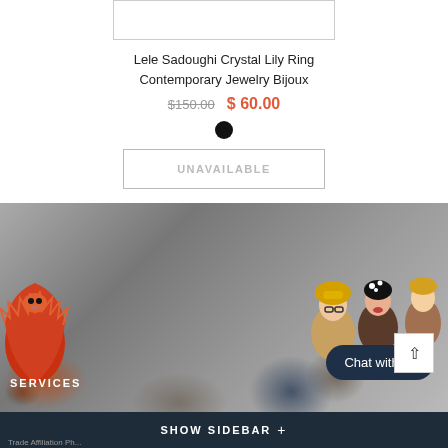[Figure (other): Product image placeholder box (white rectangle with border)]
Lele Sadoughi Crystal Lily Ring Contemporary Jewelry Bijoux
$150.00  $ 60.00
[Figure (other): Black circle color swatch]
UNAVAILABLE
[Figure (photo): Fashion crowd scene photo with illustrated characters on right side, dark background with bokeh/glitter effect]
SERVICES
Chat with us
SHOW SIDEBAR +
Trade Affiliation Ph...